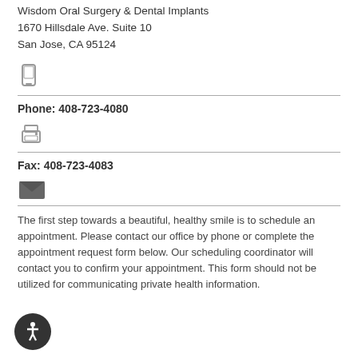Wisdom Oral Surgery & Dental Implants
1670 Hillsdale Ave. Suite 10
San Jose, CA 95124
[Figure (illustration): Mobile phone icon (gray)]
Phone: 408-723-4080
[Figure (illustration): Printer icon (gray)]
Fax: 408-723-4083
[Figure (illustration): Envelope/mail icon (dark gray)]
The first step towards a beautiful, healthy smile is to schedule an appointment. Please contact our office by phone or complete the appointment request form below. Our scheduling coordinator will contact you to confirm your appointment. This form should not be utilized for communicating private health information.